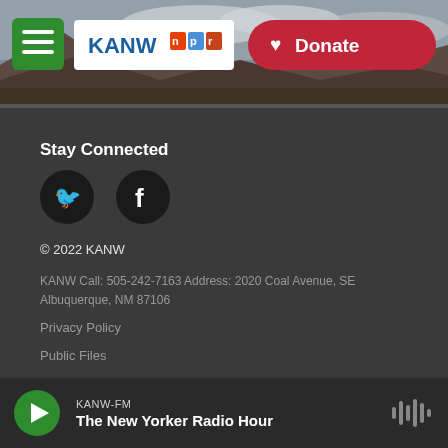[Figure (screenshot): KANW NPR radio station website header with mountain landscape background, green hamburger menu button, KANW NPR logo, and red Donate button]
Stay Connected
[Figure (illustration): Twitter and Facebook social media circular icon buttons]
© 2022 KANW
KANW Call: 505-242-7163 Address: 2020 Coal Avenue, SE Albuquerque, NM 87106
Privacy Policy
Public Files
KANW-FM The New Yorker Radio Hour